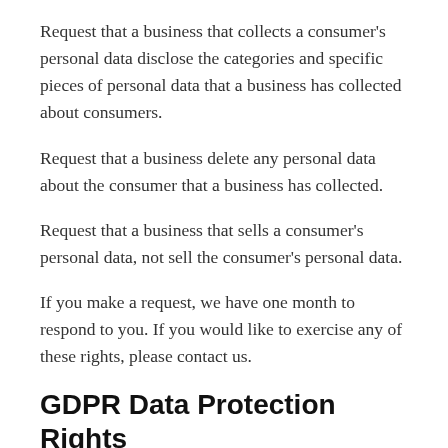Request that a business that collects a consumer's personal data disclose the categories and specific pieces of personal data that a business has collected about consumers.
Request that a business delete any personal data about the consumer that a business has collected.
Request that a business that sells a consumer's personal data, not sell the consumer's personal data.
If you make a request, we have one month to respond to you. If you would like to exercise any of these rights, please contact us.
GDPR Data Protection Rights
We would like to make sure you are fully aware of all of your data protection rights. Every user is entitled to